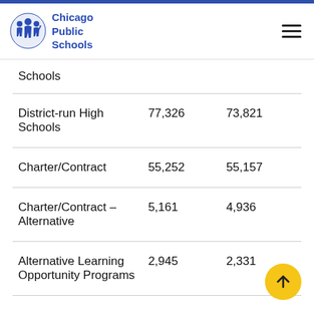[Figure (logo): Chicago Public Schools logo with silhouette figures and text]
| Schools |  |  |
| District-run High Schools | 77,326 | 73,821 |
| Charter/Contract | 55,252 | 55,157 |
| Charter/Contract – Alternative | 5,161 | 4,936 |
| Alternative Learning Opportunity Programs | 2,945 | 2,331 |